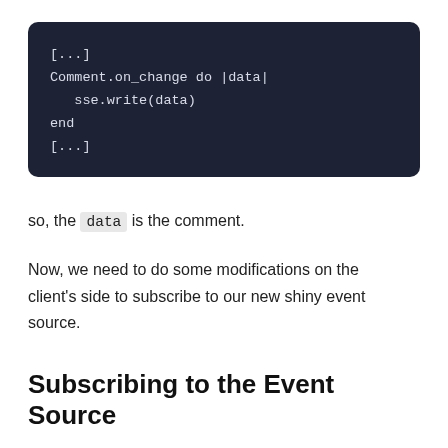[Figure (other): Dark code block showing Ruby code: [...] Comment.on_change do |data| sse.write(data) end [...]]
so, the data is the comment.
Now, we need to do some modifications on the client's side to subscribe to our new shiny event source.
Subscribing to the Event Source